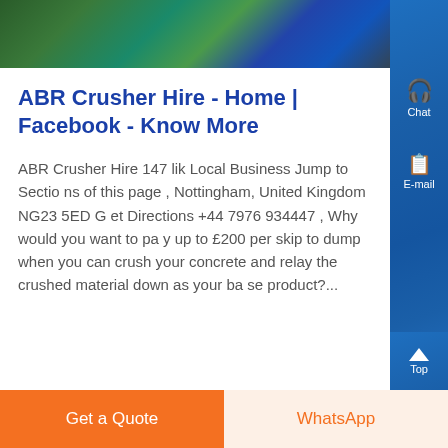[Figure (photo): Partial banner image showing industrial/construction equipment in dark green and blue tones]
ABR Crusher Hire - Home | Facebook - Know More
ABR Crusher Hire 147 lik Local Business Jump to Sections of this page , Nottingham, United Kingdom NG23 5ED Get Directions +44 7976 934447 , Why would you want to pay up to £200 per skip to dump when you can crush your concrete and relay the crushed material down as your base product?...